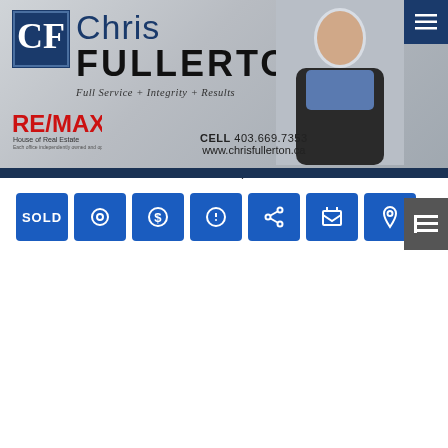[Figure (photo): Chris Fullerton real estate agent header banner with logo showing CF initials, name 'Chris FULLERTON', tagline 'Full Service + Integrity + Results', RE/MAX branding, cell number 403.669.7353, website www.chrisfullerton.ca, and agent headshot photo]
My Listings
60 EDENWOLD Green NW
Edgemont Calgary T3A 5B8
$415,000
Attached beds: 3 baths: 3.0 1,146 sq. ft. built: 1992